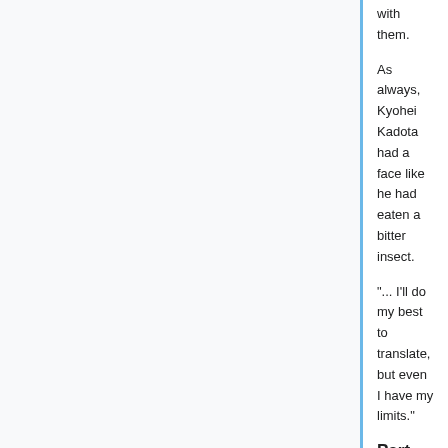with them.
As always, Kyohei Kadota had a face like he had eaten a bitter insect.
"... I'll do my best to translate, but even I have my limits."
Part 10 [ edit ]
Rumble rumble
In front of the headless rider, the characters written in blood on the wall squirmed.
The characters no longer needed the wall as a canvas. The crimson liquid, as if in a micro-g environment, floated in midair, and then began to form a particular German phrase.
"Either way, I look like this, so even if I wanted to convey an accurate warning to the residents about the upcoming..."